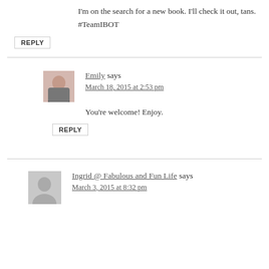I'm on the search for a new book. I'll check it out, tans. #TeamIBOT
REPLY
Emily says
March 18, 2015 at 2:53 pm
You're welcome! Enjoy.
REPLY
Ingrid @ Fabulous and Fun Life says
March 3, 2015 at 8:32 pm